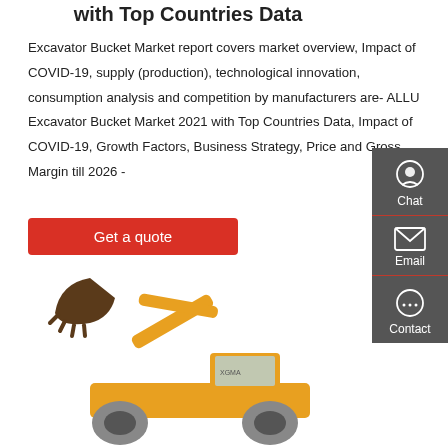with Top Countries Data
Excavator Bucket Market report covers market overview, Impact of COVID-19, supply (production), technological innovation, consumption analysis and competition by manufacturers are- ALLU Excavator Bucket Market 2021 with Top Countries Data, Impact of COVID-19, Growth Factors, Business Strategy, Price and Gross Margin till 2026 -
Get a quote
[Figure (photo): Yellow XGMA excavator/wheel loader with bucket raised, side view on white background]